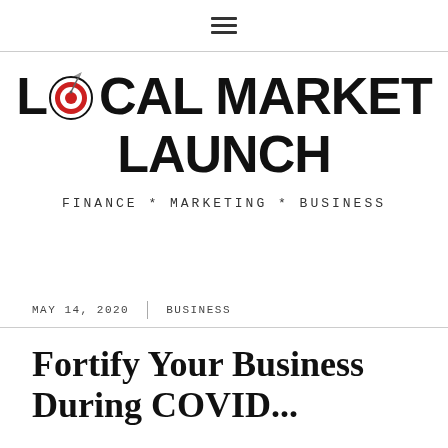☰ (hamburger menu icon)
[Figure (logo): Local Market Launch logo with a target/bullseye icon replacing the 'O' in LOCAL, with arrow. Bold uppercase black text on white background.]
FINANCE * MARKETING * BUSINESS
MAY 14, 2020  |  BUSINESS
Fortify Your Business During COVID...